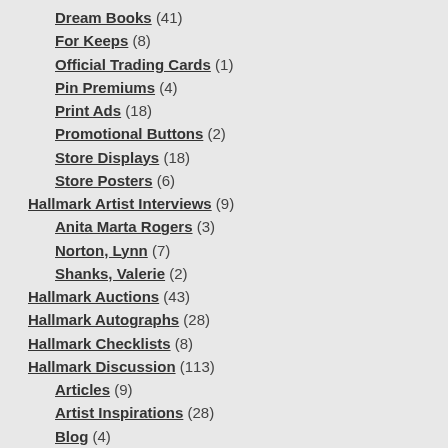Dream Books (41)
For Keeps (8)
Official Trading Cards (1)
Pin Premiums (4)
Print Ads (18)
Promotional Buttons (2)
Store Displays (18)
Store Posters (6)
Hallmark Artist Interviews (9)
Anita Marta Rogers (3)
Norton, Lynn (7)
Shanks, Valerie (2)
Hallmark Auctions (43)
Hallmark Autographs (28)
Hallmark Checklists (8)
Hallmark Discussion (113)
Articles (9)
Artist Inspirations (28)
Blog (4)